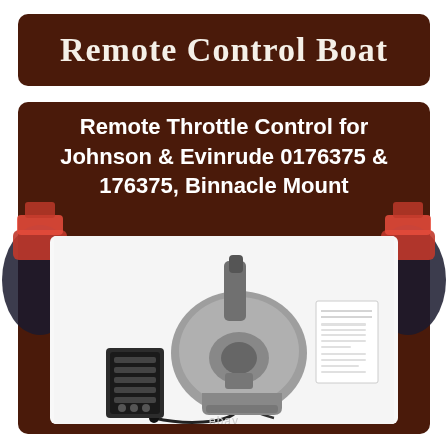Remote Control Boat
Remote Throttle Control for Johnson & Evinrude 0176375 & 176375, Binnacle Mount
[Figure (photo): Product photo showing a remote throttle control unit for Johnson & Evinrude outboard motors, including the main binnacle mount control handle, a wiring harness connector block, and an instruction sheet. The ebay watermark is visible at the bottom.]